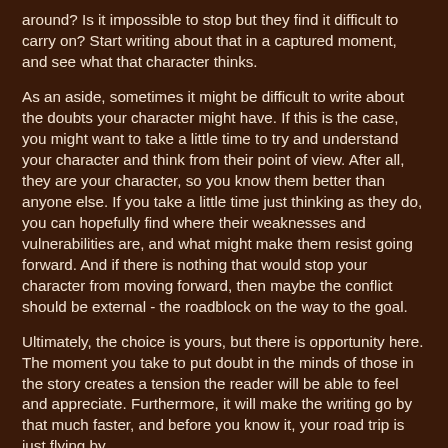around? Is it impossible to stop but they find it difficult to carry on? Start writing about that in a captured moment, and see what that character thinks.
As an aside, sometimes it might be difficult to write about the doubts your character might have. If this is the case, you might want to take a little time to try and understand your character and think from their point of view. After all, they are your character, so you know them better than anyone else. If you take a little time just thinking as they do, you can hopefully find where their weaknesses and vulnerabilities are, and what might make them resist going forward. And if there is nothing that would stop your character from moving forward, then maybe the conflict should be external - the roadblock on the way to the goal.
Ultimately, the choice is yours, but there is opportunity here. The moment you take to put doubt in the minds of those in the story creates a tension the reader will be able to feel and appreciate. Furthermore, it will make the writing go by that much faster, and before you know it, your road trip is just flying by.